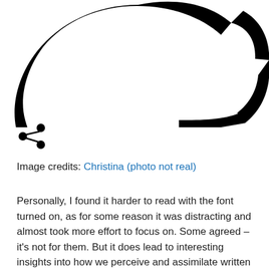[Figure (logo): Large black letter C logo, partially cropped at top]
[Figure (other): Share icon (three dots connected by lines)]
Image credits: Christina (photo not real)
Personally, I found it harder to read with the font turned on, as for some reason it was distracting and almost took more effort to focus on. Some agreed – it's not for them. But it does lead to interesting insights into how we perceive and assimilate written